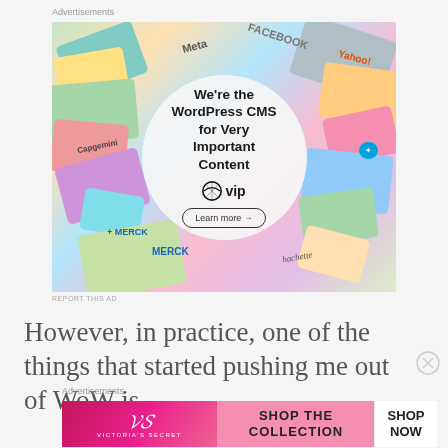Advertisements
[Figure (photo): WordPress VIP advertisement showing various brand logos on cards in the background with a circular overlay reading 'We're the WordPress CMS for Very Important Content' with a WP VIP logo and 'Learn more →' button]
REPORT THIS AD
However, in practice, one of the things that started pushing me out of WoW is
Advertisements
[Figure (photo): Victoria's Secret advertisement with pink background showing VS logo and 'SHOP THE COLLECTION' text with a 'SHOP NOW' button]